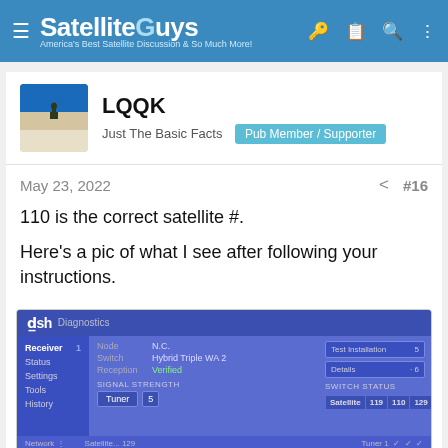SatelliteGuys — America's Best Satellite Discussion & So Much More!
LQQK
Just The Basic Facts  Pub Member / Supporter
May 23, 2022  #16
110 is the correct satellite #.

Here's a pic of what I see after following your instructions.
[Figure (screenshot): DISH Diagnostics screen showing Receiver info: Node N.C., Switch Hybrid Triple WA 2, Reception Verified. Signal Strength with Tuner 5 selector. Switch Status table with Satellite columns 119, 110, 129. Buttons: Test Installation 5, Details 6.]
Ad — Tally: PayOff Debt Faster  Install!